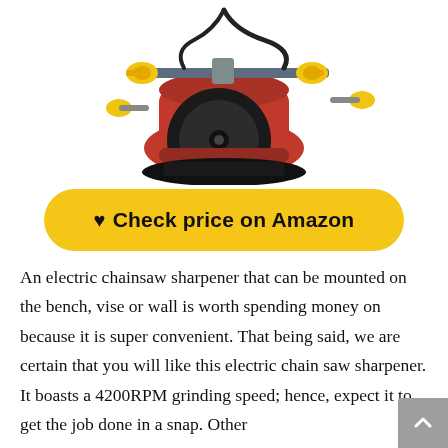[Figure (photo): Red and yellow electric chainsaw sharpener viewed from the front, showing the grinding wheel, adjustment knobs, and mounting hardware.]
♥ Check price on Amazon
An electric chainsaw sharpener that can be mounted on the bench, vise or wall is worth spending money on because it is super convenient. That being said, we are certain that you will like this electric chain saw sharpener. It boasts a 4200RPM grinding speed; hence, expect it to get the job done in a snap. Other